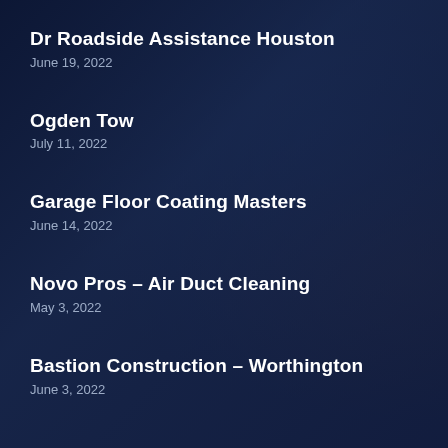Dr Roadside Assistance Houston
June 19, 2022
Ogden Tow
July 11, 2022
Garage Floor Coating Masters
June 14, 2022
Novo Pros – Air Duct Cleaning
May 3, 2022
Bastion Construction – Worthington
June 3, 2022